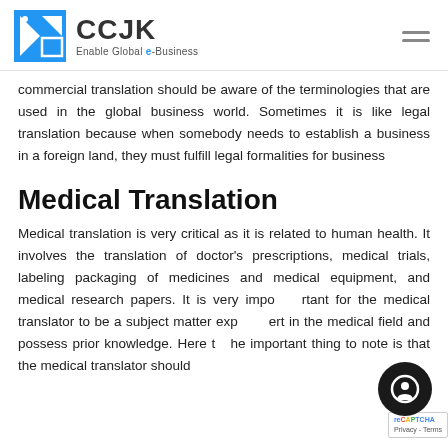CCJK — Enable Global e-Business
commercial translation should be aware of the terminologies that are used in the global business world. Sometimes it is like legal translation because when somebody needs to establish a business in a foreign land, they must fulfill legal formalities for business
Medical Translation
Medical translation is very critical as it is related to human health. It involves the translation of doctor's prescriptions, medical trials, labeling packaging of medicines and medical equipment, and medical research papers. It is very important for the medical translator to be a subject matter expert in the medical field and possess prior knowledge. Here the important thing to note is that the medical translator should